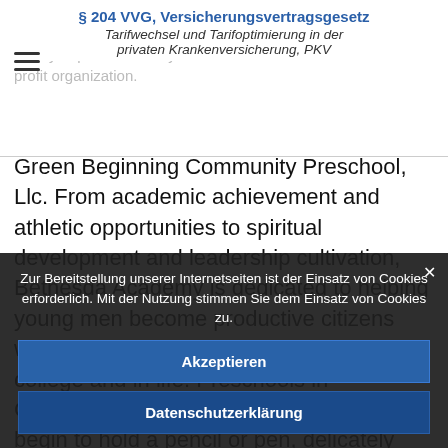§ 204 VVG, Versicherungsvertragsgesetz
Tarifwechsel und Tarifoptimierung in der privaten Krankenversicherung, PKV
RDCA has been a leader in child care services in Montgomery County since 1969. Strong arm tape reported at Norwood ... in Chevy ... preschool for your child. GreatSchools is a 501c3 non profit organization.
Green Beginning Community Preschool, Llc. From academic achievement and athletic opportunities to spiritual development and leadership cultivation, Bethesda Academy is dedicated to helping young men become productive citizens who are prepared for future success in college and in life. Preschools in Centreville, VA. Hands too small to even begin to hold a pencil or pen, delicately pinch tiny bits of
Zur Bereitstellung unserer Internetseiten ist der Einsatz von Cookies erforderlich. Mit der Nutzung stimmen Sie dem Einsatz von Cookies zu.
Akzeptieren
Datenschutzerklärung